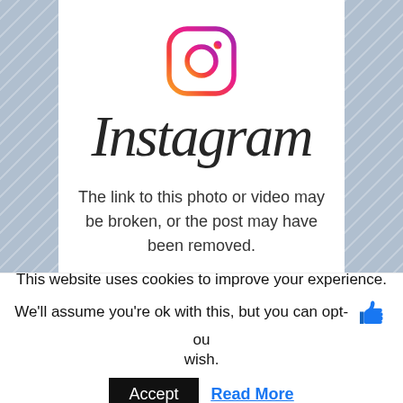[Figure (logo): Instagram camera logo icon with gradient border (orange to pink to purple)]
Instagram
The link to this photo or video may be broken, or the post may have been removed.
Visit Instagram
This website uses cookies to improve your experience. We'll assume you're ok with this, but you can opt-ou wish.
Accept
Read More